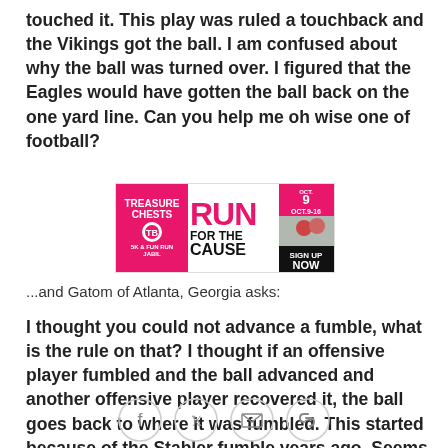touched it. This play was ruled a touchback and the Vikings got the ball. I am confused about why the ball was turned over. I figured that the Eagles would have gotten the ball back on the one yard line. Can you help me oh wise one of football?
[Figure (infographic): Advertisement banner for 'Treasure Chests - Run for the Cause' event, featuring Oct. 9 and Oct. 9-16 dates with a Sign Up Now call to action, in pink and black colors.]
...and Gatom of Atlanta, Georgia asks:
I thought you could not advance a fumble, what is the rule on that? I thought if an offensive player fumbled and the ball advanced and another offensive player recovered it, the ball goes back to where it was fumbled. This started because of the Stabler fumble years ago. Seems like when the
[Figure (infographic): Social sharing icons row: Facebook, Twitter, Email, Link]